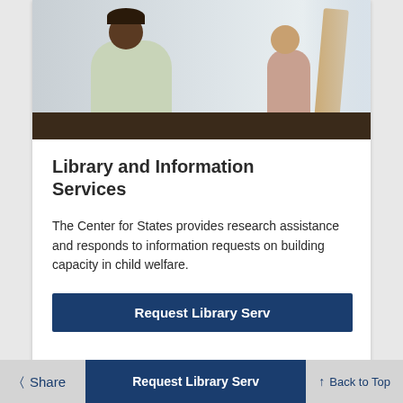[Figure (photo): A woman leaning over a kitchen counter helping a toddler with food. The adult is wearing a light green sweater and jeans. The child is wearing a pink outfit. There is a wooden cutting board and produce on the counter, with a bright window in the background.]
Library and Information Services
The Center for States provides research assistance and responds to information requests on building capacity in child welfare.
< Share   Request Library Serv   ↑ Back to Top